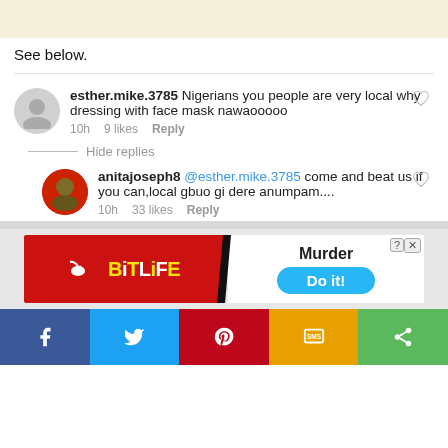See below.
esther.mike.3785 Nigerians you people are very local why dressing with face mask nawaooooo
10h   9 likes   Reply
Hide replies
anitajoseph8 @esther.mike.3785 come and beat us if you can,local gbuo gi dere anumpam....
10h   33 likes   Reply
[Figure (screenshot): BitLife app advertisement banner with red background on left showing BitLife logo with sperm icon, and white right panel showing 'Murder' text and 'Do it!' blue pill button]
[Figure (infographic): Social share bar with Facebook (blue), Twitter (light blue), Pinterest (red), SMS (yellow/orange), and Share (green) buttons]